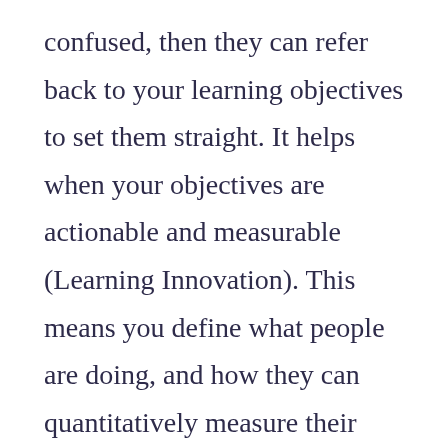confused, then they can refer back to your learning objectives to set them straight. It helps when your objectives are actionable and measurable (Learning Innovation). This means you define what people are doing, and how they can quantitatively measure their results.

Being clear and consistent with your message helps you to stand out. You don't want your content to get lost in the ever-growing sea of mediocrity–and you